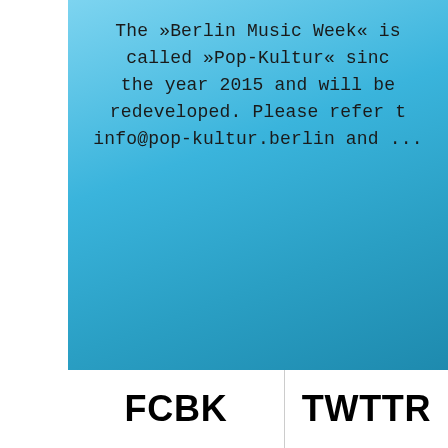The »Berlin Music Week« is called »Pop-Kultur« since the year 2015 and will be redeveloped. Please refer to info@pop-kultur.berlin and ...
[Figure (other): FCBK social media icon label in bold black text on white background]
[Figure (other): TWTTR social media icon label in bold black text on white background]